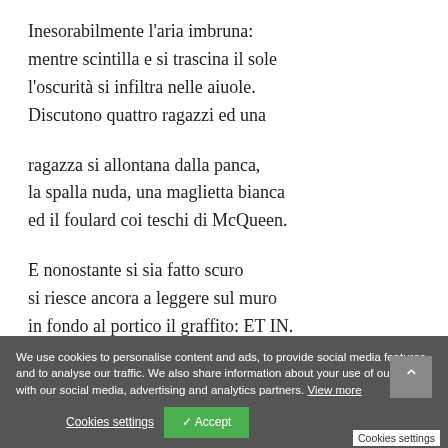Inesorabilmente l'aria imbruna:
mentre scintilla e si trascina il sole
l'oscurità si infiltra nelle aiuole.
Discutono quattro ragazzi ed una
ragazza si allontana dalla panca,
la spalla nuda, una maglietta bianca
ed il foulard coi teschi di McQueen.
E nonostante si sia fatto scuro
si riesce ancora a leggere sul muro
in fondo al portico il graffito: ET IN.
We use cookies to personalise content and ads, to provide social media features and to analyse our traffic. We also share information about your use of our site with our social media, advertising and analytics partners. View more
Cookies settings
✓ Accept
Tequila doppia
Cookies settings